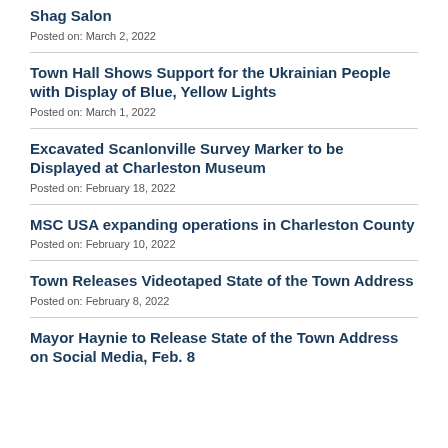Shag Salon
Posted on: March 2, 2022
Town Hall Shows Support for the Ukrainian People with Display of Blue, Yellow Lights
Posted on: March 1, 2022
Excavated Scanlonville Survey Marker to be Displayed at Charleston Museum
Posted on: February 18, 2022
MSC USA expanding operations in Charleston County
Posted on: February 10, 2022
Town Releases Videotaped State of the Town Address
Posted on: February 8, 2022
Mayor Haynie to Release State of the Town Address on Social Media, Feb. 8